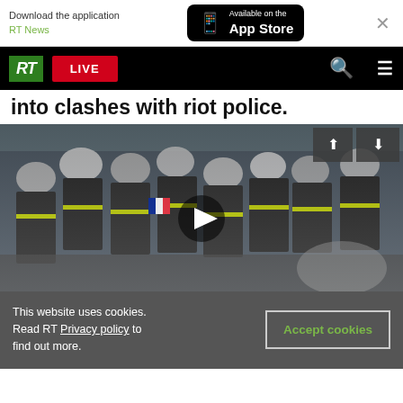Download the application RT News — Available on the App Store
RT LIVE
into clashes with riot police.
[Figure (photo): Video still showing a crowd of firefighters in black and yellow gear with helmets clashing with riot police, play button overlay visible]
This website uses cookies. Read RT Privacy policy to find out more. Accept cookies